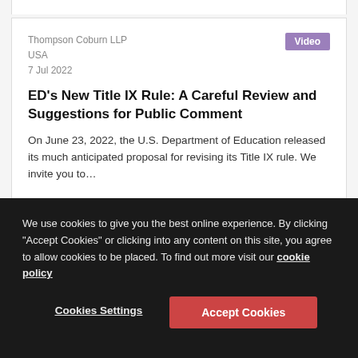Thompson Coburn LLP
USA
7 Jul 2022
ED's New Title IX Rule: A Careful Review and Suggestions for Public Comment
On June 23, 2022, the U.S. Department of Education released its much anticipated proposal for revising its Title IX rule. We invite you to…
We use cookies to give you the best online experience. By clicking "Accept Cookies" or clicking into any content on this site, you agree to allow cookies to be placed. To find out more visit our cookie policy
Cookies Settings
Accept Cookies